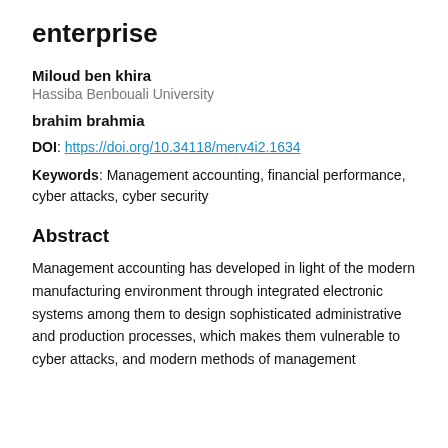enterprise
Miloud ben khira
Hassiba Benbouali University
brahim brahmia
DOI: https://doi.org/10.34118/merv4i2.1634
Keywords: Management accounting, financial performance, cyber attacks, cyber security
Abstract
Management accounting has developed in light of the modern manufacturing environment through integrated electronic systems among them to design sophisticated administrative and production processes, which makes them vulnerable to cyber attacks, and modern methods of management